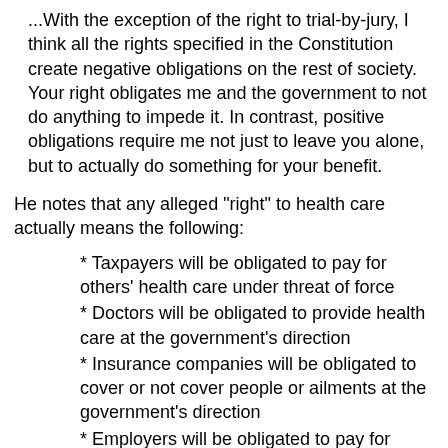...With the exception of the right to trial-by-jury, I think all the rights specified in the Constitution create negative obligations on the rest of society. Your right obligates me and the government to not do anything to impede it. In contrast, positive obligations require me not just to leave you alone, but to actually do something for your benefit.
He notes that any alleged "right" to health care actually means the following:
* Taxpayers will be obligated to pay for others' health care under threat of force
* Doctors will be obligated to provide health care at the government's direction
* Insurance companies will be obligated to cover or not cover people or ailments at the government's direction
* Employers will be obligated to pay for health care of whatever kind mandated by the government